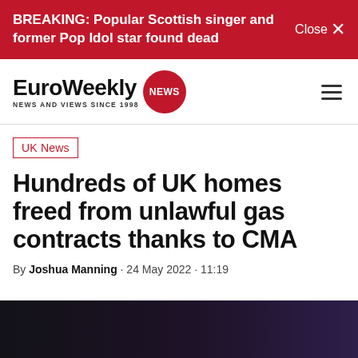BREAKING: Popular Scottish singer and former Pop Idol star found dead  Close ×
[Figure (logo): EuroWeekly NEWS logo with red circular NEWS badge. Tagline: NEWS AND VIEWS SINCE 1998]
UK News
Hundreds of UK homes freed from unlawful gas contracts thanks to CMA
By Joshua Manning · 24 May 2022 · 11:19
[Figure (photo): Dark colored photo, partially visible at bottom of page]